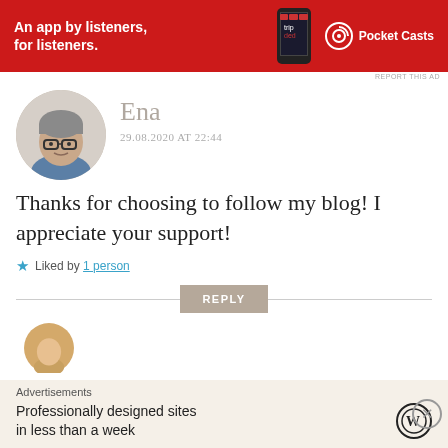[Figure (infographic): Red Pocket Casts advertisement banner: 'An app by listeners, for listeners.' with phone image and Pocket Casts logo]
REPORT THIS AD
[Figure (photo): Circular profile photo of a woman with short grey hair and glasses]
Ena
29.08.2020 AT 22:44
Thanks for choosing to follow my blog! I appreciate your support!
Liked by 1 person
REPLY
[Figure (photo): Partial circular profile photo of another commenter, orange/tan toned]
Advertisements
Professionally designed sites in less than a week